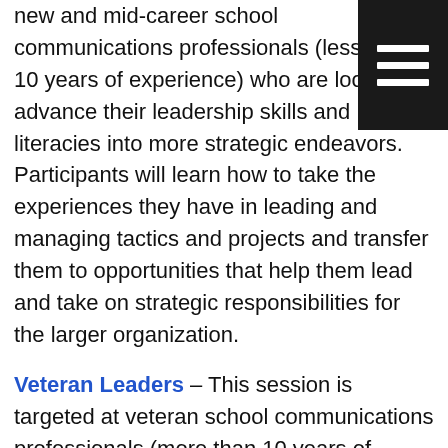new and mid-career school communications professionals (less than 10 years of experience) who are looking to advance their leadership skills and literacies into more strategic endeavors. Participants will learn how to take the experiences they have in leading and managing tactics and projects and transfer them to opportunities that help them lead and take on strategic responsibilities for the larger organization.
Veteran Leaders – This session is targeted at veteran school communications professionals (more than 10 years of experience) who are looking to fill their tanks and explore new leadership opportunities within and/or outside their organization. Participants will learn how to manage increased expectations and continue to foster a passion for learning so that they are able to advance their own leadership development in ways that are beneficial to the larger organization.